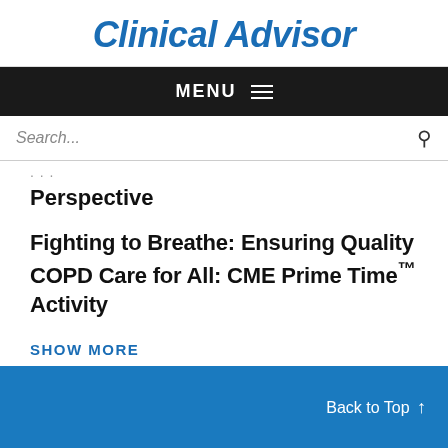Clinical Advisor
MENU
Search...
Perspective
Fighting to Breathe: Ensuring Quality COPD Care for All: CME Prime Time™ Activity
SHOW MORE
Back to Top ↑